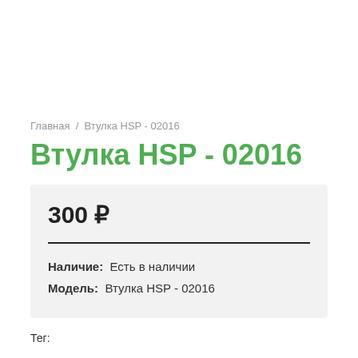Главная  /  Втулка HSP - 02016
Втулка HSP - 02016
300 ₽
Наличие:  Есть в наличии
Модель:  Втулка HSP - 02016
Тег: